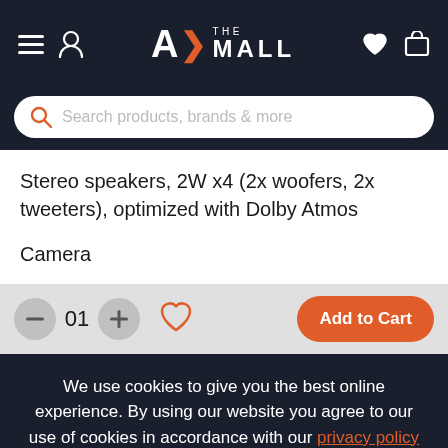A> THE MALL — navigation header with hamburger menu, user icon, logo, heart icon, and cart icon
Search products, brands & more
Stereo speakers, 2W x4 (2x woofers, 2x tweeters), optimized with Dolby Atmos
Camera
01 — quantity selector with minus and plus buttons, wishlist heart, Add to Cart button
We use cookies to give you the best online experience. By using our website you agree to our use of cookies in accordance with our privacy policy
Continue